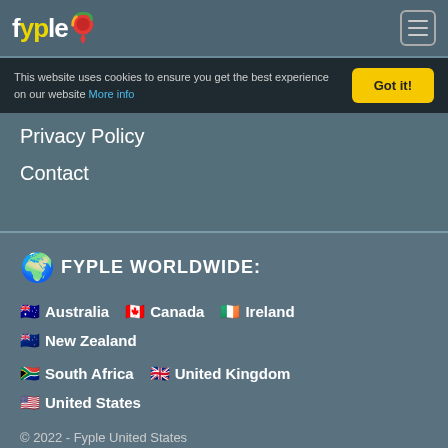fyple
This website uses cookies to ensure you get the best experience on our website More info
Privacy Policy
Contact
FYPLE WORLDWIDE:
Australia  Canada  Ireland  New Zealand  South Africa  United Kingdom  United States
© 2022 - Fyple United States